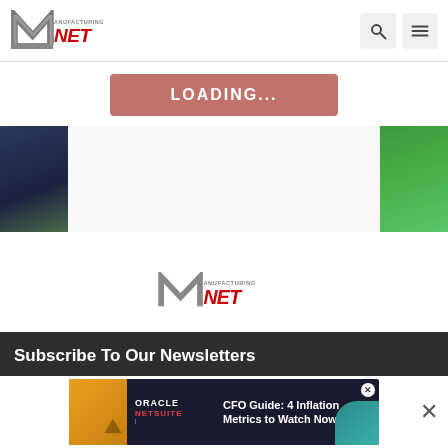Manufacturing.net header with logo, search icon, and hamburger menu
LOADING...
[Figure (photo): Partial image strip showing dark blue image on left edge and green image on right edge, with white space in between]
[Figure (logo): Manufacturing.net logo centered on page]
Subscribe To Our Newsletters
Subscribe to receive the latest information.
Email
[Figure (screenshot): Oracle NetSuite advertisement banner: CFO Guide: 4 Inflation Metrics to Watch Now]
X